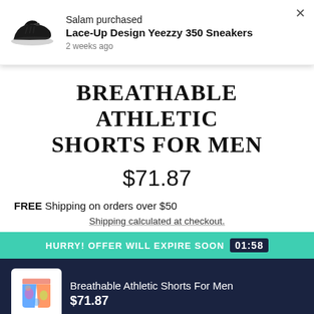[Figure (screenshot): Notification popup showing a black sneaker image with text: Salam purchased, Lace-Up Design Yeezzy 350 Sneakers, 2 weeks ago, with a close X button]
BREATHABLE ATHLETIC SHORTS FOR MEN
$71.87
FREE Shipping on orders over $50
Shipping calculated at checkout.
HURRY! OFFER WILL EXPIRE SOON 01:58
[Figure (photo): Thumbnail of colorful tie-dye athletic shorts]
Breathable Athletic Shorts For Men
$71.87
2 XL
7199#
Buy Now